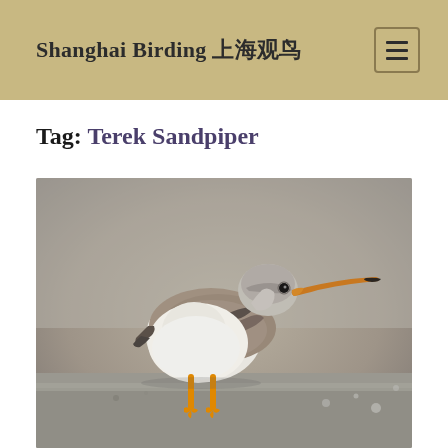Shanghai Birding 上海观鸟
Tag: Terek Sandpiper
[Figure (photo): A Terek Sandpiper bird standing on a flat surface. The bird has grey-brown plumage on the back and wings, a white belly, an orange-yellow upcurved bill, orange-yellow legs, and a dark eye. The background is a blurred grey-beige.]